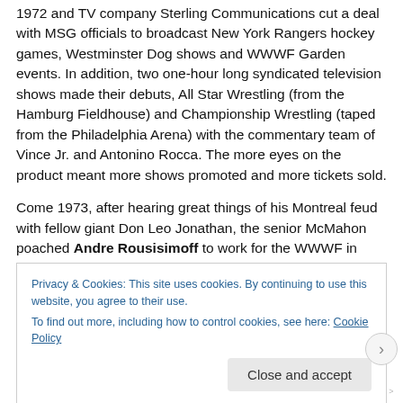1972 and TV company Sterling Communications cut a deal with MSG officials to broadcast New York Rangers hockey games, Westminster Dog shows and WWWF Garden events. In addition, two one-hour long syndicated television shows made their debuts, All Star Wrestling (from the Hamburg Fieldhouse) and Championship Wrestling (taped from the Philadelphia Arena) with the commentary team of Vince Jr. and Antonino Rocca. The more eyes on the product meant more shows promoted and more tickets sold.
Come 1973, after hearing great things of his Montreal feud with fellow giant Don Leo Jonathan, the senior McMahon poached Andre Rousisimoff to work for the WWWF in
Privacy & Cookies: This site uses cookies. By continuing to use this website, you agree to their use.
To find out more, including how to control cookies, see here: Cookie Policy